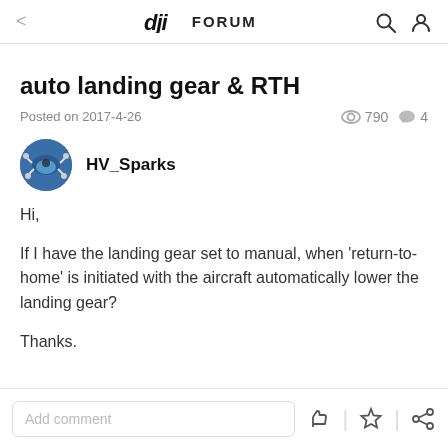< DJI FORUM
auto landing gear & RTH
Posted on 2017-4-26   790   4
HV_Sparks
Hi,

If I have the landing gear set to manual, when 'return-to-home' is initiated with the aircraft automatically lower the landing gear?

Thanks.
Add comment